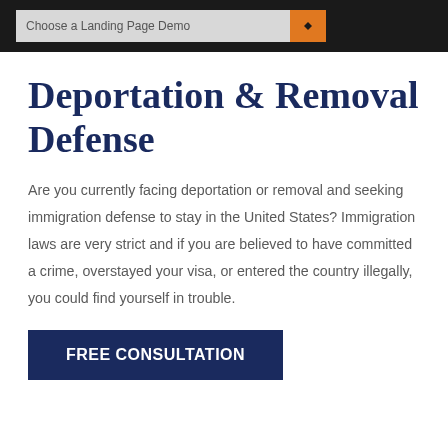Choose a Landing Page Demo
Deportation & Removal Defense
Are you currently facing deportation or removal and seeking immigration defense to stay in the United States? Immigration laws are very strict and if you are believed to have committed a crime, overstayed your visa, or entered the country illegally, you could find yourself in trouble.
FREE CONSULTATION